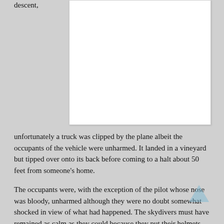descent,
[Figure (other): White box with light border, appears to be a content area or image placeholder]
unfortunately a truck was clipped by the plane albeit the occupants of the vehicle were unharmed. It landed in a vineyard but tipped over onto its back before coming to a halt about 50 feet from someone's home.
The occupants were, with the exception of the pilot whose nose was bloody, unharmed although they were no doubt somewhat shocked in view of what had happened. The skydivers must have remained as calm as they could because they put their helmets and seatbelts back on as they waited for the plane to make an emergency landing in the vineyard.